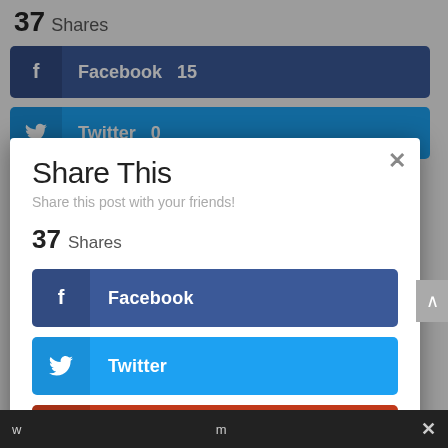37 Shares
[Figure (screenshot): Facebook share button with count 15, blue background with f icon]
[Figure (screenshot): Twitter share button with count 0, cyan background with bird icon]
Share This
Share this post with your friends!
37 Shares
[Figure (screenshot): Facebook social share button in dark blue]
[Figure (screenshot): Twitter social share button in cyan blue]
[Figure (screenshot): Google+ social share button in red-orange]
[Figure (screenshot): Pinterest social share button in red]